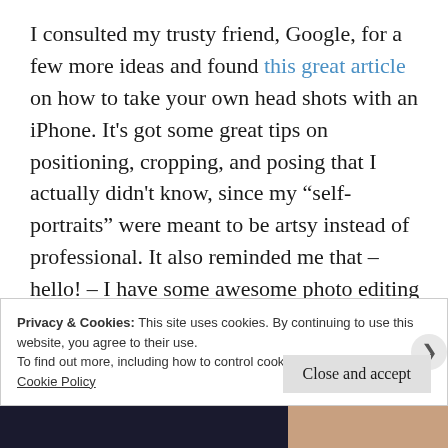I consulted my trusty friend, Google, for a few more ideas and found this great article on how to take your own head shots with an iPhone. It's got some great tips on positioning, cropping, and posing that I actually didn't know, since my “self-portraits” were meant to be artsy instead of professional. It also reminded me that – hello! – I have some awesome photo editing apps on my (Galaxy S6 Active) phone.
Privacy & Cookies: This site uses cookies. By continuing to use this website, you agree to their use.
To find out more, including how to control cookies, see here:
Cookie Policy